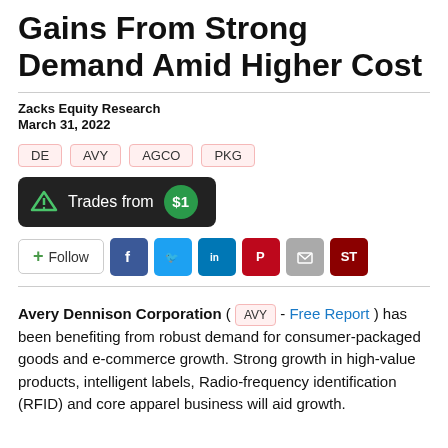Gains From Strong Demand Amid Higher Cost
Zacks Equity Research
March 31, 2022
DE
AVY
AGCO
PKG
[Figure (other): Trades from $1 button with dark background and green circle price badge]
[Figure (other): Social sharing bar: Follow button, Facebook, Twitter, LinkedIn, Pinterest, Email, ST icons]
Avery Dennison Corporation ( AVY - Free Report ) has been benefiting from robust demand for consumer-packaged goods and e-commerce growth. Strong growth in high-value products, intelligent labels, Radio-frequency identification (RFID) and core apparel business will aid growth.